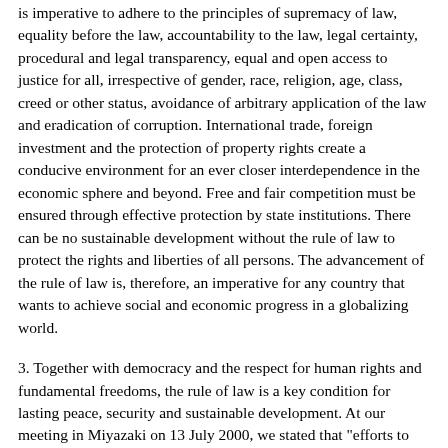is imperative to adhere to the principles of supremacy of law, equality before the law, accountability to the law, legal certainty, procedural and legal transparency, equal and open access to justice for all, irrespective of gender, race, religion, age, class, creed or other status, avoidance of arbitrary application of the law and eradication of corruption. International trade, foreign investment and the protection of property rights create a conducive environment for an ever closer interdependence in the economic sphere and beyond. Free and fair competition must be ensured through effective protection by state institutions. There can be no sustainable development without the rule of law to protect the rights and liberties of all persons. The advancement of the rule of law is, therefore, an imperative for any country that wants to achieve social and economic progress in a globalizing world.
3. Together with democracy and the respect for human rights and fundamental freedoms, the rule of law is a key condition for lasting peace, security and sustainable development. At our meeting in Miyazaki on 13 July 2000, we stated that "efforts to prevent conflict must be based upon observance of international law, including the UN Charter, democracy, respect for human rights, the rule of law, good governance, sustainable development and other fundamental values, which constitute the foundation of international peace and security." We are convinced that conflicts within societies cannot be settled in a peaceful manner unless all